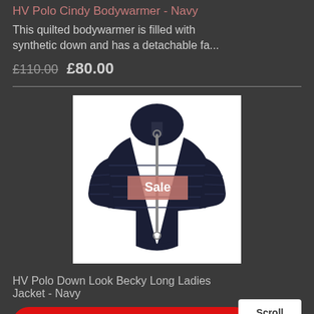HV Polo Cindy Bodywarmer - Navy
This quilted bodywarmer is filled with synthetic down and has a detachable fa...
£110.00 £80.00
[Figure (photo): Navy quilted long ladies jacket with hood and front zipper, displayed on white background with a pink 'Sale' badge overlay]
HV Polo Down Look Becky Long Ladies Jacket - Navy
BOOK SHOWROOM APPOINTMENT
Scroll to top